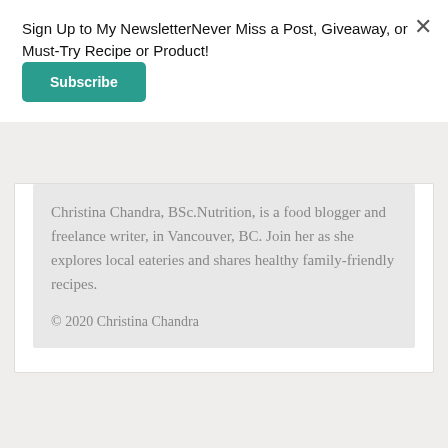Sign Up to My NewsletterNever Miss a Post, Giveaway, or Must-Try Recipe or Product!
Subscribe
Christina Chandra, BSc.Nutrition, is a food blogger and freelance writer, in Vancouver, BC. Join her as she explores local eateries and shares healthy family-friendly recipes.
© 2020 Christina Chandra